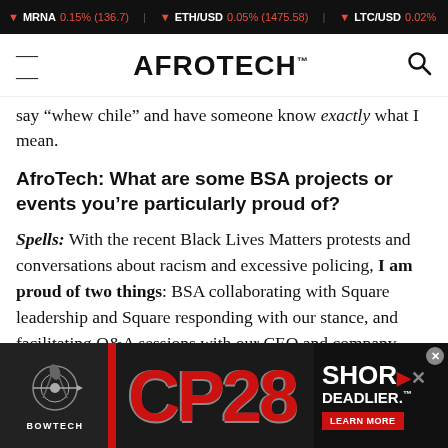MRNA 0.15% (136.7) | ETH/USD 0.05% (1475.58) | LTC/USD 0.02...
AFROTECH™
say “whew chile” and have someone know exactly what I mean.
AfroTech: What are some BSA projects or events you’re particularly proud of?
Spells: With the recent Black Lives Matters protests and conversations about racism and excessive policing, I am proud of two things: BSA collaborating with Square leadership and Square responding with our stance, and facilitating Q&A sessions with our CEO and company-wide town halls with Square employees. In both of these forums
[Figure (screenshot): Bowtech CP28 advertisement banner with red and dark background, showing CP28 text in large red letters and SHORTER DEADLIER tagline with LEARN MORE button]